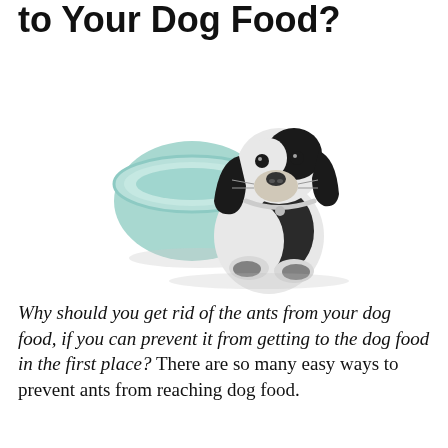to Your Dog Food?
[Figure (photo): A black and white Springer Spaniel dog holding a light teal/mint colored dog bowl in its mouth, sitting against a white background.]
Why should you get rid of the ants from your dog food, if you can prevent it from getting to the dog food in the first place? There are so many easy ways to prevent ants from reaching dog food.